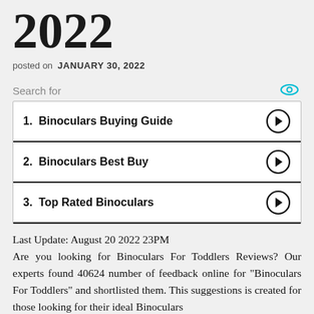2022
posted on JANUARY 30, 2022
Search for
1. Binoculars Buying Guide
2. Binoculars Best Buy
3. Top Rated Binoculars
Last Update: August 20 2022 23PM Are you looking for Binoculars For Toddlers Reviews? Our experts found 40624 number of feedback online for "Binoculars For Toddlers" and shortlisted them. This suggestions is created for those looking for their ideal Binoculars